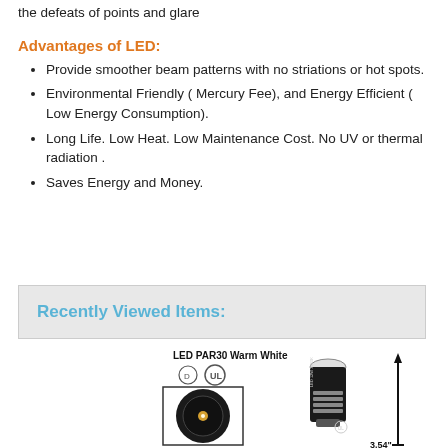the defeats of points and glare
Advantages of LED:
Provide smoother beam patterns with no striations or hot spots.
Environmental Friendly ( Mercury Fee), and Energy Efficient ( Low Energy Consumption).
Long Life. Low Heat. Low Maintenance Cost. No UV or thermal radiation .
Saves Energy and Money.
Recently Viewed Items:
[Figure (photo): LED PAR30 Warm White bulb product image showing the bulb face with dimmable and UL certification symbols, alongside a side view of the bulb with E26 base and a height dimension arrow.]